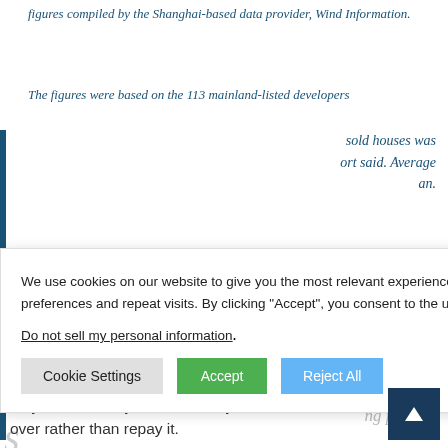figures compiled by the Shanghai-based data provider, Wind Information.
The figures were based on the 113 mainland-listed developers and their first quarter filings. The number of sold houses was [obscured] the report said. Average [obscured] an.
We use cookies on our website to give you the most relevant experience by remembering your preferences and repeat visits. By clicking “Accept”, you consent to the use of ALL the cookies.
Do not sell my personal information
Cookie Settings
Accept
Reject All
they have already financed, they need to roll the debt over rather than repay it.